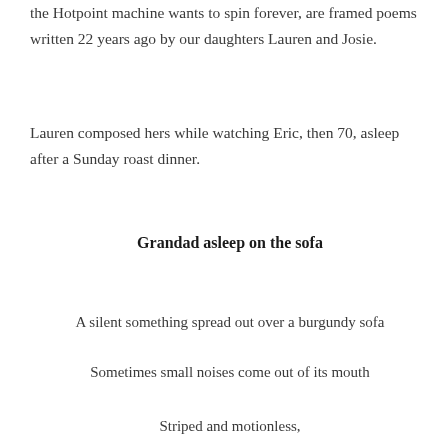the Hotpoint machine wants to spin forever, are framed poems written 22 years ago by our daughters Lauren and Josie.
Lauren composed hers while watching Eric, then 70, asleep after a Sunday roast dinner.
Grandad asleep on the sofa
A silent something spread out over a burgundy sofa
Sometimes small noises come out of its mouth
Striped and motionless,